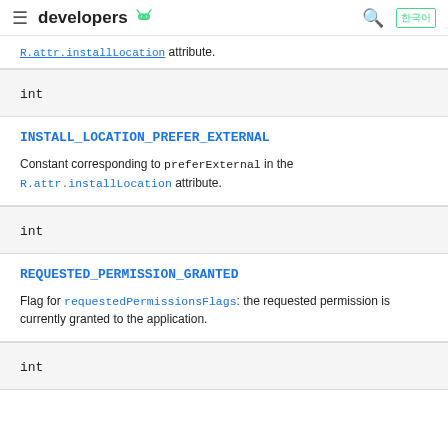developers [android logo]
R.attr.installLocation attribute. (truncated/continued link)
int
INSTALL_LOCATION_PREFER_EXTERNAL
Constant corresponding to preferExternal in the R.attr.installLocation attribute.
int
REQUESTED_PERMISSION_GRANTED
Flag for requestedPermissionsFlags: the requested permission is currently granted to the application.
int